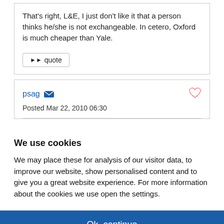That's right, L&E, I just don't like it that a person thinks he/she is not exchangeable. In cetero, Oxford is much cheaper than Yale.
▶▶ quote
psag
Posted Mar 22, 2010 06:30
We use cookies
We may place these for analysis of our visitor data, to improve our website, show personalised content and to give you a great website experience. For more information about the cookies we use open the settings.
Ok, continue
Deny
No, adjust